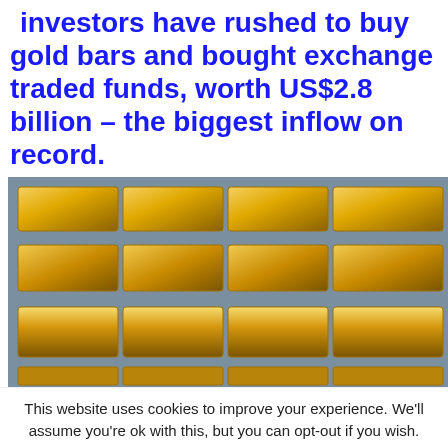Investors have rushed to buy gold bars and bought exchange traded funds, worth US$2.8 billion – the biggest inflow on record.
[Figure (photo): Stack of shiny gold bars/ingots piled on top of each other against a blue background]
This website uses cookies to improve your experience. We'll assume you're ok with this, but you can opt-out if you wish.
Accept | Reject | Read More
https://infiniteunknown.net/dsgvo/